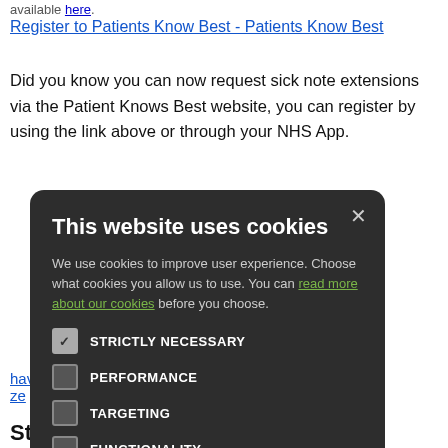available here.
Register to Patients Know Best - Patients Know Best
Did you know you can now request sick note extensions via the Patient Knows Best website, you can register by using the link above or through your NHS App.
[Figure (screenshot): Cookie consent modal dialog on dark background. Title: 'This website uses cookies'. Body text: 'We use cookies to improve user experience. Choose what cookies you allow us to use. You can read more about our cookies before you choose.' Four checkbox options: STRICTLY NECESSARY (checked), PERFORMANCE (unchecked), TARGETING (unchecked), FUNCTIONALITY (unchecked). Two buttons: ACCEPT ALL (green) and DECLINE ALL (outline).]
have changed
ze
Staying Informed